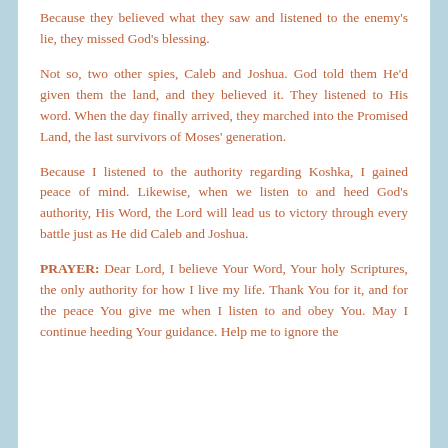Because they believed what they saw and listened to the enemy's lie, they missed God's blessing.
Not so, two other spies, Caleb and Joshua. God told them He'd given them the land, and they believed it. They listened to His word. When the day finally arrived, they marched into the Promised Land, the last survivors of Moses' generation.
Because I listened to the authority regarding Koshka, I gained peace of mind. Likewise, when we listen to and heed God's authority, His Word, the Lord will lead us to victory through every battle just as He did Caleb and Joshua.
PRAYER: Dear Lord, I believe Your Word, Your holy Scriptures, the only authority for how I live my life. Thank You for it, and for the peace You give me when I listen to and obey You. May I continue heeding Your guidance. Help me to ignore the